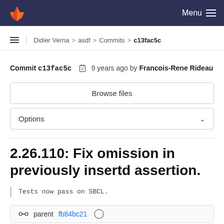Menu
Didier Verna > asdf > Commits > c13fac5c
Commit c13fac5c  9 years ago by Francois-Rene Rideau
Browse files
Options
2.26.110: Fix omission in previously insertd assertion.
Tests now pass on SBCL.
parent fb84bc21